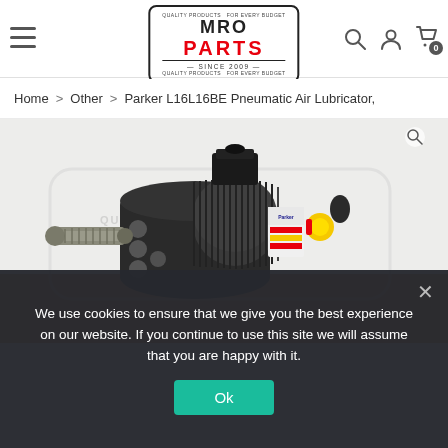MRO PARTS SINCE 2009
Home > Other > Parker L16L16BE Pneumatic Air Lubricator,
[Figure (photo): Parker L16L16BE Pneumatic Air Lubricator product photo on a red surface with cardboard box in background, featuring black cylindrical body with circular holes, a label with Parker branding, yellow and red accent pieces, and a metal fitting on the left side.]
We use cookies to ensure that we give you the best experience on our website. If you continue to use this site we will assume that you are happy with it.